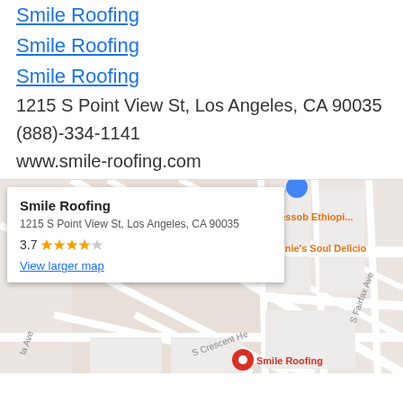Smile Roofing
Smile Roofing
Smile Roofing
1215 S Point View St, Los Angeles, CA 90035
(888)-334-1141
www.smile-roofing.com
[Figure (map): Google Maps showing location of Smile Roofing at 1215 S Point View St, Los Angeles, CA 90035. A popup card shows business name, address, rating of 3.7 stars, and a 'View larger map' link. Street grid visible with labels including S Point, Messob Ethiopia, Annie's Soul Delicio, th Dr, S Crescent He, S Fairfax Ave. Red map pin marks Smile Roofing location.]